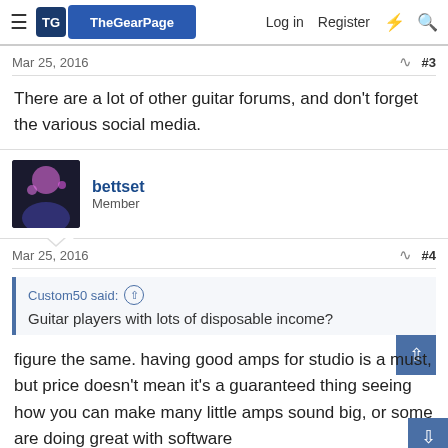The Gear Page — Log in  Register
Mar 25, 2016   #3
There are a lot of other guitar forums, and don't forget the various social media.
bettset
Member
Mar 25, 2016   #4
Custom50 said:
Guitar players with lots of disposable income?
figure the same. having good amps for studio is a must, but price doesn't mean it's a guaranteed thing seeing how you can make many little amps sound big, or some are doing great with software